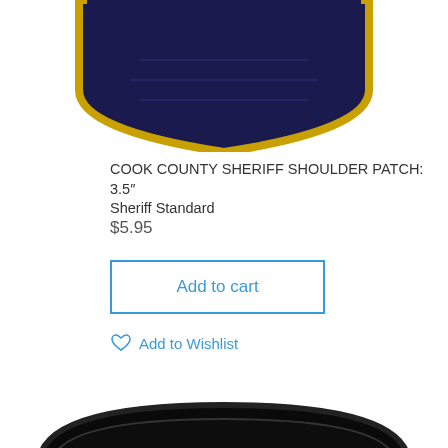[Figure (photo): Top portion of a Cook County Sheriff shoulder patch with navy blue background and gold/yellow border in a shield shape, cropped showing the bottom half of the patch.]
COOK COUNTY SHERIFF SHOULDER PATCH: 3.5″ Sheriff Standard
$5.95
Add to cart
Add to Wishlist
[Figure (photo): Cook County Sheriff embroidered patch with black background and white lettering reading COOK COUNTY SHERIFF with a circular emblem at the bottom, cropped showing the top portion of the patch.]